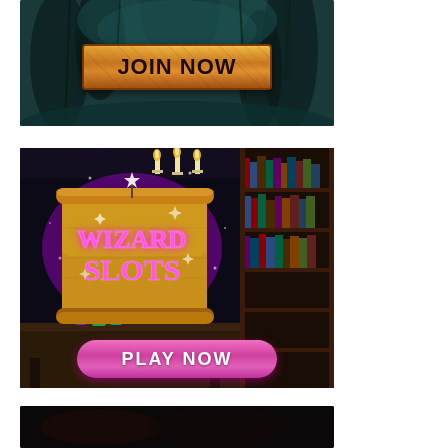[Figure (illustration): Dark fantasy forest banner with a 'JOIN NOW' golden parchment button in the center]
[Figure (illustration): Wizard Slots game advertisement with dark wizard room background, glowing purple scroll logo reading 'WIZARD SLOTS' in pink text, potions on a desk, bookshelf, and a pink 'PLAY NOW' button]
[Figure (illustration): Partial dark-background banner at the bottom, cut off]